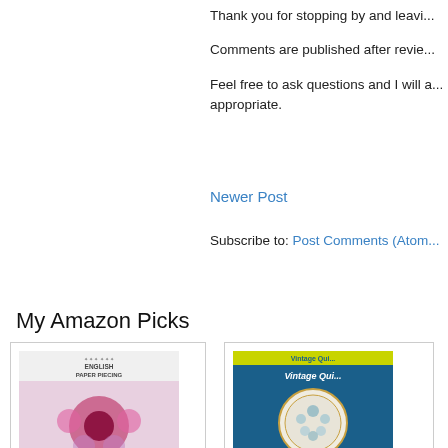Thank you for stopping by and leavi...
Comments are published after revie...
Feel free to ask questions and I will a... appropriate.
Newer Post
Subscribe to: Post Comments (Atom...
My Amazon Picks
[Figure (photo): Book cover: Flossie Teacakes' Guide to English Paper Piecing]
Flossie Teacakes' Guide to English Paper Piecing: Explori...
[Figure (photo): Book cover: Warman's Vintage Qui... Identification And Pr...]
Warman's Vintage Qu... Identification And Pr...